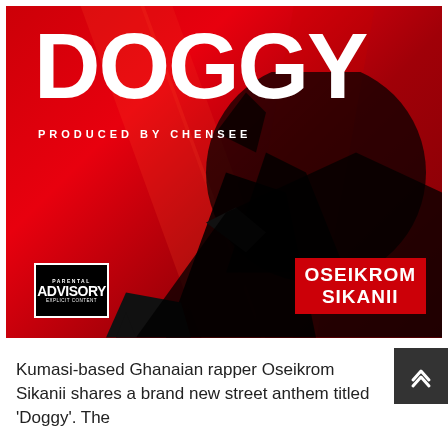[Figure (illustration): Album cover art for 'Doggy' by Oseikrom Sikanii. Bold red background with dark silhouette of a person. White text reads 'DOGGY' at top in large bold letters. Below that 'PRODUCED BY CHENSEE' in spaced caps. Bottom right has 'OSEIKROM SIKANII' in white on red background. Bottom left has a Parental Advisory Explicit Content label.]
Kumasi-based Ghanaian rapper Oseikrom Sikanii shares a brand new street anthem titled 'Doggy'. The